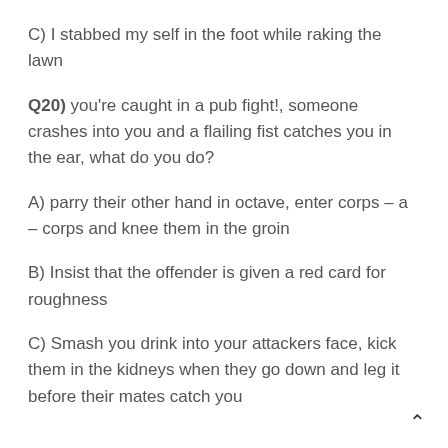C) I stabbed my self in the foot while raking the lawn
Q20) you're caught in a pub fight!, someone crashes into you and a flailing fist catches you in the ear, what do you do?
A) parry their other hand in octave, enter corps – a – corps and knee them in the groin
B) Insist that the offender is given a red card for roughness
C) Smash you drink into your attackers face, kick them in the kidneys when they go down and leg it before their mates catch you